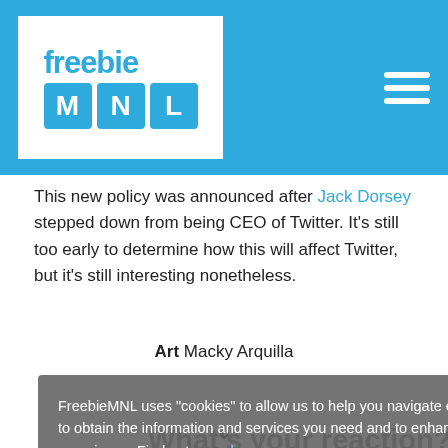freebie MNL [logo]
This new policy was announced after Jack Dorsey stepped down from being CEO of Twitter. It’s still too early to determine how this will affect Twitter, but it’s still interesting nonetheless.
Art Macky Arquilla
FreebieMNL uses “cookies” to allow us to help you navigate efficiently, to obtain the information and services you need and to enhance user experience. Find out more here
What’s your reaction?
[Figure (illustration): Row of emoji reaction faces and two larger emoji in a white box on the right]